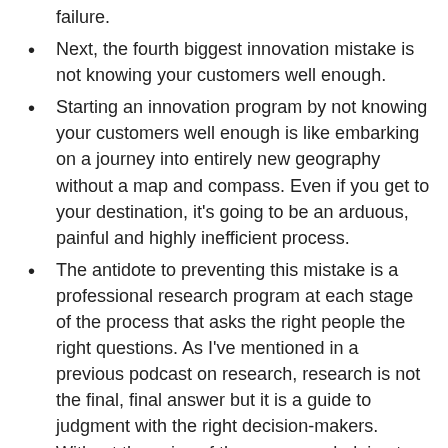failure.
Next, the fourth biggest innovation mistake is not knowing your customers well enough.
Starting an innovation program by not knowing your customers well enough is like embarking on a journey into entirely new geography without a map and compass. Even if you get to your destination, it's going to be an arduous, painful and highly inefficient process.
The antidote to preventing this mistake is a professional research program at each stage of the process that asks the right people the right questions. As I've mentioned in a previous podcast on research, research is not the final, final answer but it is a guide to judgment with the right decision-makers. Without the voice of the consumer helping to guide you each step of the way, the opportunity for major mistakes is very high.
Next, the third biggest innovation mistake is